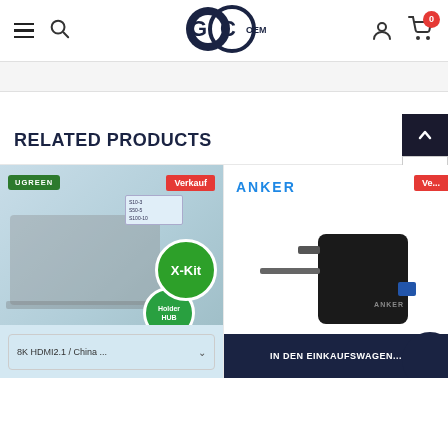GC OEM - navigation bar with hamburger menu, search, logo, account, cart (0)
RELATED PRODUCTS
[Figure (photo): UGREEN product image showing laptop on stand with X-Kit and Holder HUB badges, sale badge 'Verkauf']
8K HDMI2.1 / China ...
[Figure (photo): Anker brand USB charger/wall plug product photo with 'Ve...' sale badge]
IN DEN EINKAUFSWAGEN...